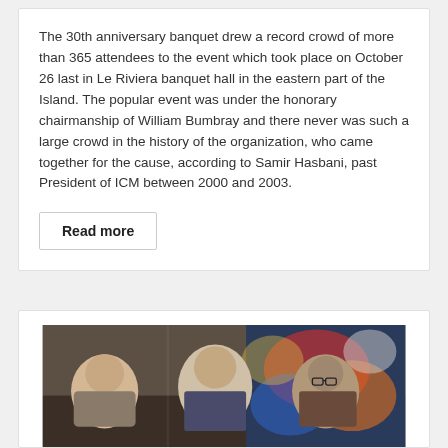The 30th anniversary banquet drew a record crowd of more than 365 attendees to the event which took place on October 26 last in Le Riviera banquet hall in the eastern part of the Island. The popular event was under the honorary chairmanship of William Bumbray and there never was such a large crowd in the history of the organization, who came together for the cause, according to Samir Hasbani, past President of ICM between 2000 and 2003.
Read more
[Figure (photo): Photo of three men posing together at an event, in front of a colorful artwork or decorated background.]